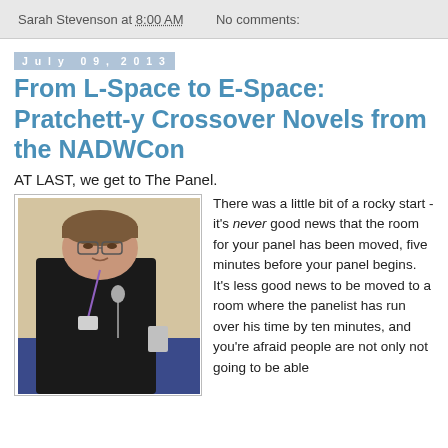Sarah Stevenson at 8:00 AM   No comments:
July 09, 2013
From L-Space to E-Space: Pratchett-y Crossover Novels from the NADWCon
AT LAST, we get to The Panel.
[Figure (photo): Woman sitting at a panel table speaking into a microphone, wearing a black cardigan with a purple lanyard, at a convention panel.]
There was a little bit of a rocky start - it's never good news that the room for your panel has been moved, five minutes before your panel begins. It's less good news to be moved to a room where the panelist has run over his time by ten minutes, and you're afraid people are not only not going to be able